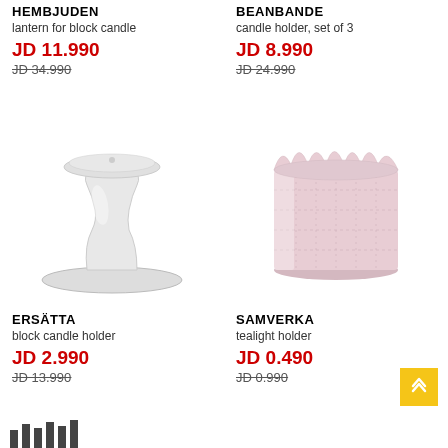HEMBJUDEN
lantern for block candle
JD 11.990
JD 34.990
[Figure (photo): White ceramic block candle holder with pedestal base, ERSÄTTA]
BEANBANDE
candle holder, set of 3
JD 8.990
JD 24.990
[Figure (photo): Pink lace-patterned tealight holder, SAMVERKA]
ERSÄTTA
block candle holder
JD 2.990
JD 13.990
SAMVERKA
tealight holder
JD 0.490
JD 0.990
[Figure (bar-chart): Partial bar chart visible at bottom of page]